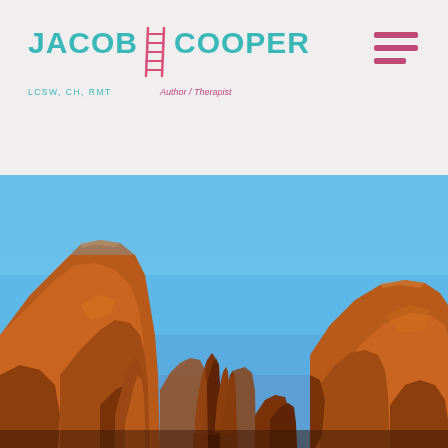[Figure (logo): Jacob Cooper logo with teal text, ladder SVG icon, subtitle 'LCSW, CH, RMT' and 'Author / Therapist' in pink italic]
[Figure (photo): Photograph of red rock formations in Sedona Arizona against a bright blue sky, featuring tall sandstone cliffs and spire formations in warm orange-red tones with sunlight]